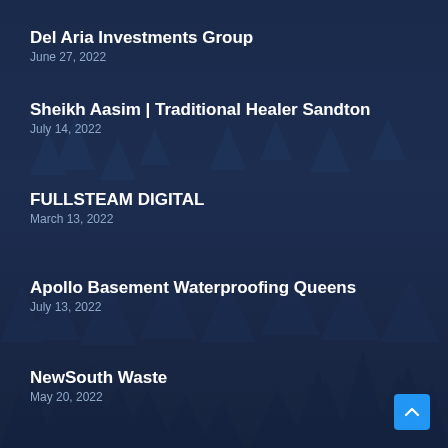Del Aria Investments Group
June 27, 2022
Sheikh Aasim | Traditional Healer Sandton
July 14, 2022
FULLSTEAM DIGITAL
March 13, 2022
Apollo Basement Waterproofing Queens
July 13, 2022
NewSouth Waste
May 20, 2022